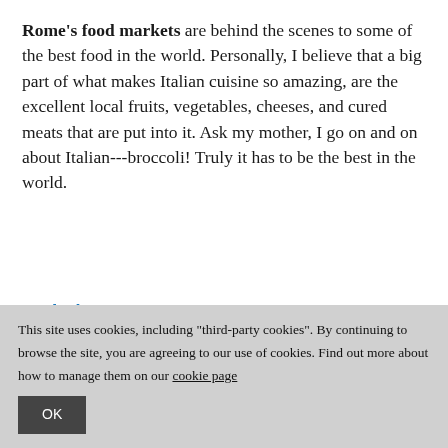Rome's food markets are behind the scenes to some of the best food in the world. Personally, I believe that a big part of what makes Italian cuisine so amazing, are the excellent local fruits, vegetables, cheeses, and cured meats that are put into it. Ask my mother, I go on and on about Italian---broccoli! Truly it has to be the best in the world.
Index:
Markets in Rome: not just about food
Campo de' Fiori
Piazzale degli Eroi / Mercato dei Fiori
This site uses cookies, including "third-party cookies". By continuing to browse the site, you are agreeing to our use of cookies. Find out more about how to manage them on our cookie page
OK